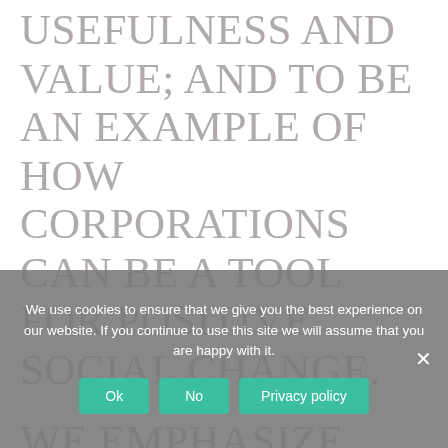USEFULNESS AND VALUE; AND TO BE AN EXAMPLE OF HOW CORPORATIONS CAN BE A TOOL FOR POSITIVE SOCIAL CHANGE.
WE EMPHASIZE THE WHOLENESS AND INTEGRATION OF THE COMPANY
We use cookies to ensure that we give you the best experience on our website. If you continue to use this site we will assume that you are happy with it.